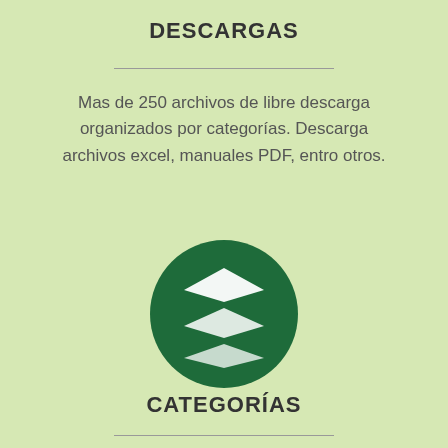DESCARGAS
Mas de 250 archivos de libre descarga organizados por categorías. Descarga archivos excel, manuales PDF, entro otros.
[Figure (logo): Dark green circle with three stacked white diamond/layer shapes icon representing downloads or file layers]
CATEGORÍAS